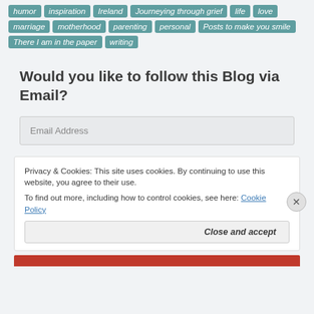humor inspiration Ireland Journeying through grief life love marriage motherhood parenting personal Posts to make you smile There I am in the paper writing
Would you like to follow this Blog via Email?
Email Address
Privacy & Cookies: This site uses cookies. By continuing to use this website, you agree to their use.
To find out more, including how to control cookies, see here: Cookie Policy
Close and accept